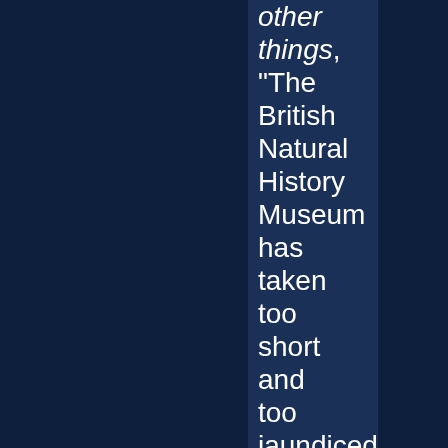other things, “The British Natural History Museum has taken too short and too jaundiced a view of it's own future as a